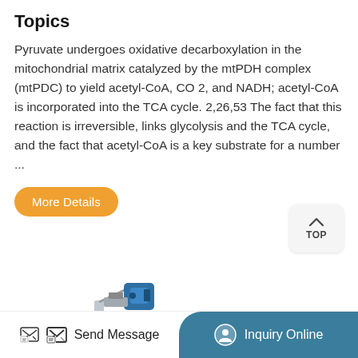Topics
Pyruvate undergoes oxidative decarboxylation in the mitochondrial matrix catalyzed by the mtPDH complex (mtPDC) to yield acetyl-CoA, CO 2, and NADH; acetyl-CoA is incorporated into the TCA cycle. 2,26,53 The fact that this reaction is irreversible, links glycolysis and the TCA cycle, and the fact that acetyl-CoA is a key substrate for a number ...
More Details
[Figure (photo): Partial view of industrial or laboratory equipment (blue and silver mechanical device) at the bottom of the page]
Send Message    Inquiry Online